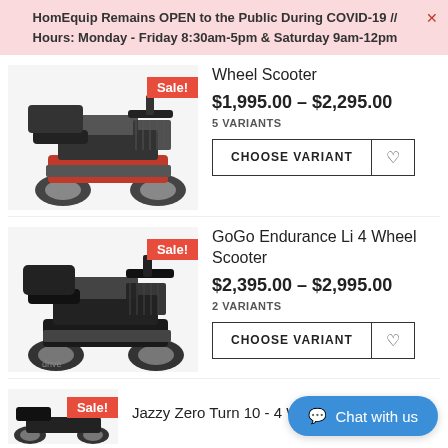HomEquip Remains OPEN to the Public During COVID-19 // Hours: Monday - Friday 8:30am-5pm & Saturday 9am-12pm
[Figure (photo): Red/black 4-wheel mobility scooter with basket]
Wheel Scooter
$1,995.00 – $2,295.00
5 VARIANTS
[Figure (photo): Black 4-wheel mobility scooter (GoGo Endurance Li) with basket, Sale badge]
GoGo Endurance Li 4 Wheel Scooter
$2,395.00 – $2,995.00
2 VARIANTS
Jazzy Zero Turn 10 - 4 Wheel